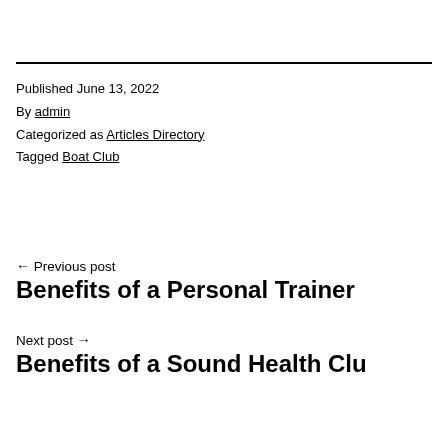Published June 13, 2022
By admin
Categorized as Articles Directory
Tagged Boat Club
← Previous post
Benefits of a Personal Trainer
Next post →
Benefits of a Sound Health Clu…